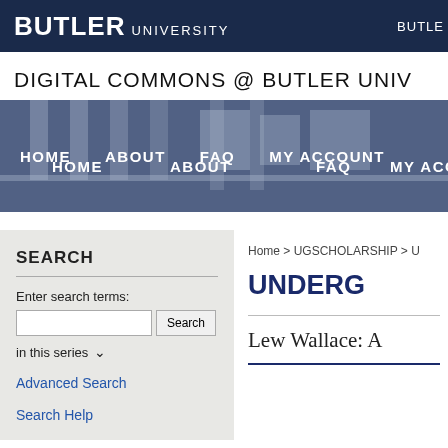BUTLER UNIVERSITY | BUTLE...
DIGITAL COMMONS @ BUTLER UNIV...
[Figure (photo): Hero banner with architectural columns background and navigation bar showing HOME, ABOUT, FAQ, MY ACCOUNT links]
SEARCH
Enter search terms:
in this series
Advanced Search
Search Help
Home > UGSCHOLARSHIP > U...
UNDERG...
Lew Wallace: A...